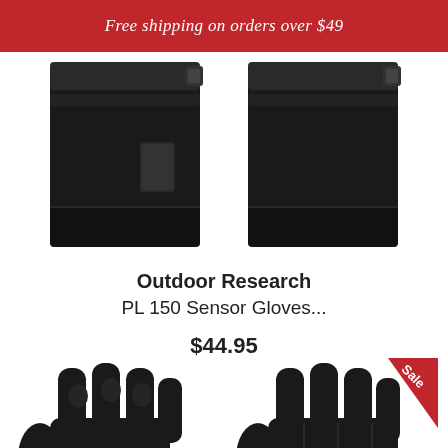Free shipping on orders over $49
[Figure (photo): Two black winter gloves shown from the wrist/cuff area, top view, side by side on white background]
Outdoor Research
PL 150 Sensor Gloves...
$44.95
[Figure (photo): Two black winter gloves shown from the front/palm area, with fingers visible. Right glove has a red 'Sale' badge in the top corner. A scroll-up button is visible.]